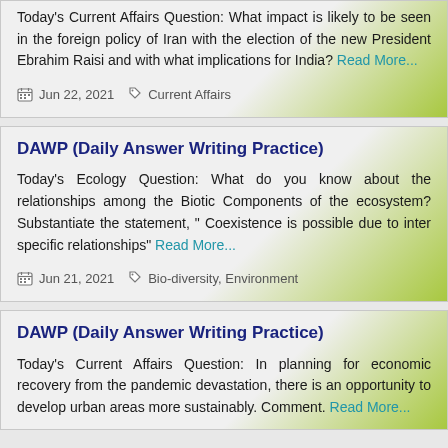Today's Current Affairs Question: What impact is likely to be seen in the foreign policy of Iran with the election of the new President Ebrahim Raisi and with what implications for India? Read More...
Jun 22, 2021  Current Affairs
DAWP (Daily Answer Writing Practice)
Today's Ecology Question: What do you know about the relationships among the Biotic Components of the ecosystem? Substantiate the statement, " Coexistence is possible due to inter specific relationships" Read More...
Jun 21, 2021  Bio-diversity, Environment
DAWP (Daily Answer Writing Practice)
Today's Current Affairs Question: In planning for economic recovery from the pandemic devastation, there is an opportunity to develop urban areas more sustainably. Comment. Read More...